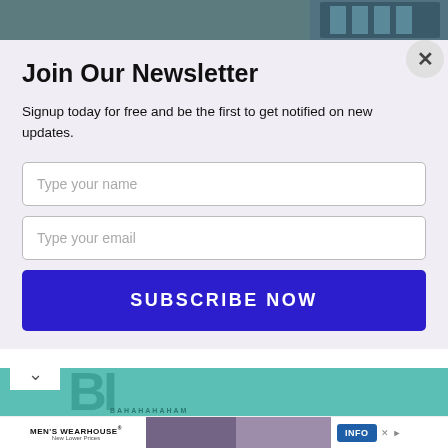[Figure (photo): Top banner with dark outdoor/architectural photo]
Join Our Newsletter
Signup today for free and be the first to get notified on new updates.
Type your name
Type your email
SUBSCRIBE NOW
[Figure (screenshot): Teal banner with large stylized B letters and small text below]
[Figure (photo): Men's Wearhouse advertisement showing couple in formalwear]